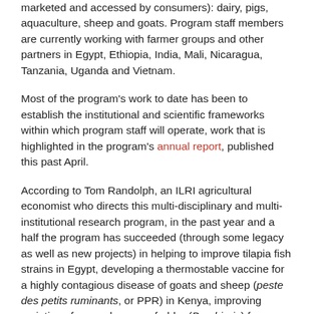marketed and accessed by consumers): dairy, pigs, aquaculture, sheep and goats. Program staff members are currently working with farmer groups and other partners in Egypt, Ethiopia, India, Mali, Nicaragua, Tanzania, Uganda and Vietnam.
Most of the program's work to date has been to establish the institutional and scientific frameworks within which program staff will operate, work that is highlighted in the program's annual report, published this past April.
According to Tom Randolph, an ILRI agricultural economist who directs this multi-disciplinary and multi-institutional research program, in the past year and a half the program has succeeded (through some legacy as well as new projects) in helping to improve tilapia fish strains in Egypt, developing a thermostable vaccine for a highly contagious disease of goats and sheep (peste des petits ruminants, or PPR) in Kenya, improving varieties of a popular grass fodder (Brachiaria) for dissemination to farmers, and promoting pro-poor dairy development in Tanzania.